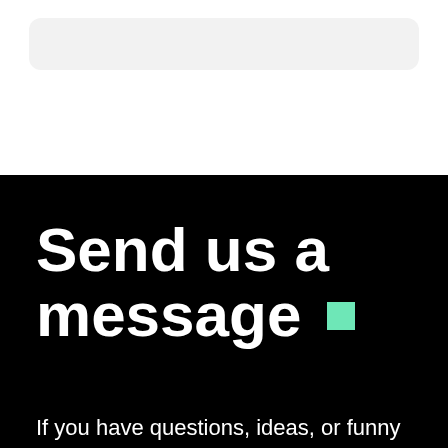[Figure (screenshot): Light gray rounded input/search box on white background at top of page]
Send us a message ■
If you have questions, ideas, or funny jokes for